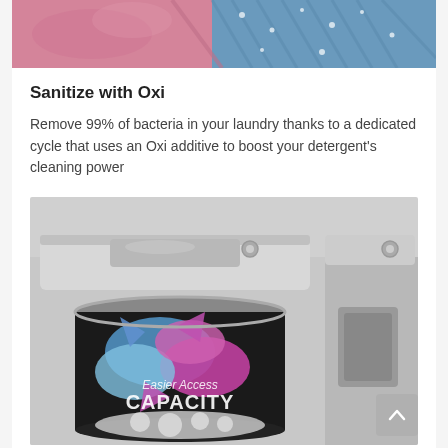[Figure (photo): Close-up photo of colorful fabric/laundry items including pink and blue textiles with water droplets]
Sanitize with Oxi
Remove 99% of bacteria in your laundry thanks to a dedicated cycle that uses an Oxi additive to boost your detergent's cleaning power
[Figure (photo): Photo of a top-loading washing machine with the drum visible showing colorful laundry inside, and text overlay reading 'Easier Access CAPACITY'. A second appliance is partially visible on the right.]